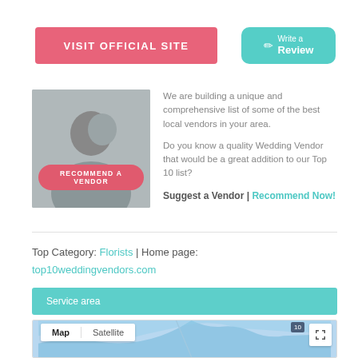VISIT OFFICIAL SITE
Write a Review
[Figure (photo): Wedding photo with RECOMMEND A VENDOR overlay button]
We are building a unique and comprehensive list of some of the best local vendors in your area.

Do you know a quality Wedding Vendor that would be a great addition to our Top 10 list?

Suggest a Vendor | Recommend Now!
Top Category: Florists | Home page: top10weddingvendors.com
Service area
[Figure (map): Google Map with Map/Satellite toggle controls and fullscreen button]